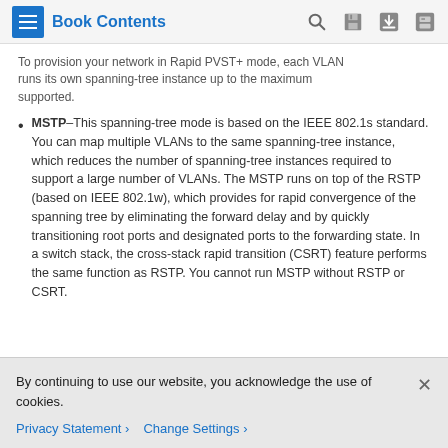Book Contents
...runs its own spanning-tree instance up to the maximum supported.
MSTP–This spanning-tree mode is based on the IEEE 802.1s standard. You can map multiple VLANs to the same spanning-tree instance, which reduces the number of spanning-tree instances required to support a large number of VLANs. The MSTP runs on top of the RSTP (based on IEEE 802.1w), which provides for rapid convergence of the spanning tree by eliminating the forward delay and by quickly transitioning root ports and designated ports to the forwarding state. In a switch stack, the cross-stack rapid transition (CSRT) feature performs the same function as RSTP. You cannot run MSTP without RSTP or CSRT.
By continuing to use our website, you acknowledge the use of cookies.
Privacy Statement > Change Settings >